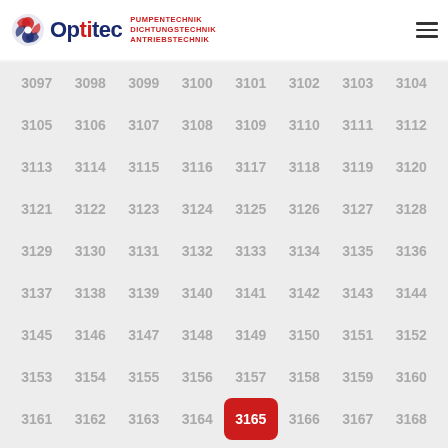Optitec — PUMPENTECHNIK DICHTUNGSTECHNIK ANTRIEBSTECHNIK
3097 3098 3099 3100 3101 3102 3103 3104 3105 3106 3107 3108 3109 3110 3111 3112 3113 3114 3115 3116 3117 3118 3119 3120 3121 3122 3123 3124 3125 3126 3127 3128 3129 3130 3131 3132 3133 3134 3135 3136 3137 3138 3139 3140 3141 3142 3143 3144 3145 3146 3147 3148 3149 3150 3151 3152 3153 3154 3155 3156 3157 3158 3159 3160 3161 3162 3163 3164 3165 3166 3167 3168 3169 3170 3171 3172 3173 3174 3175 3176 3177 3178 3179 3180 3181 3182 3183 3184 3185 3186 3187 3188 3189 3190 3191 3192